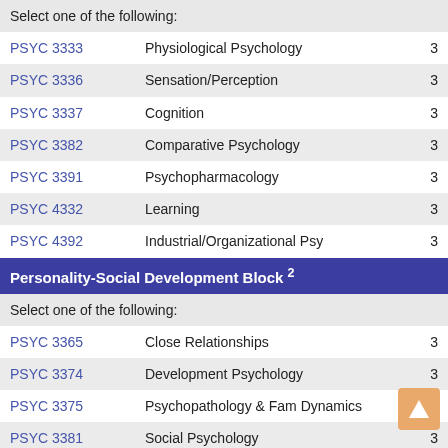| Course | Name | Credits |
| --- | --- | --- |
| Select one of the following: |  |  |
| PSYC 3333 | Physiological Psychology | 3 |
| PSYC 3336 | Sensation/Perception | 3 |
| PSYC 3337 | Cognition | 3 |
| PSYC 3382 | Comparative Psychology | 3 |
| PSYC 3391 | Psychopharmacology | 3 |
| PSYC 4332 | Learning | 3 |
| PSYC 4392 | Industrial/Organizational Psy | 3 |
Personality-Social Development Block ²
| Course | Name | Credits |
| --- | --- | --- |
| Select one of the following: |  |  |
| PSYC 3365 | Close Relationships | 3 |
| PSYC 3374 | Development Psychology | 3 |
| PSYC 3375 | Psychopathology & Fam Dynamics | 3 |
| PSYC 3381 | Social Psychology | 3 |
| PSYC 4331 | Personality | 3 |
| PSYC 4334 | Applied Social Psychology | 3 |
| PSYC 4374 | Psychology of the Elderly | 3 |